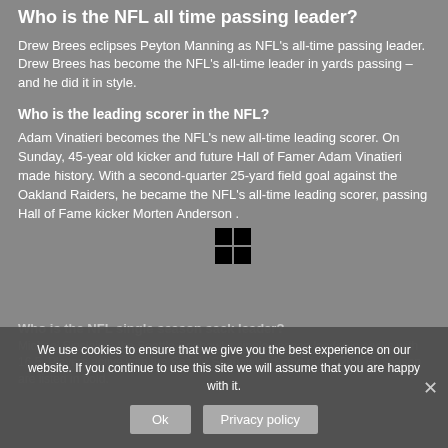Who is the NFL all time passing leader?
Drew Brees eclipses Peyton Manning as NFL's all-time passing leader. Drew Brees has become the NFL's all-time leader in yards passing – and he did it in style.
Who is the leading scorer in the NFL?
Adam Vinatieri becomes the NFL's new all-time leading scorer. On Sunday, 45-year old kicker and future Hall of Famer Adam Vinatieri made history. With a second-quarter 25-yard field goal against the Oakland Raiders, he became the NFL's all-time leading scorer, passing Hall of Fame kicker Morten Anderson .
Who is the NFL single season sack leader?
Michael Sinclair is the Seattle Seahawks single season leader in sacks with 16.5. Players active with the Seattle Seahawks during the 2020 NFL season are listed in bold.
We use cookies to ensure that we give you the best experience on our website. If you continue to use this site we will assume that you are happy with it.